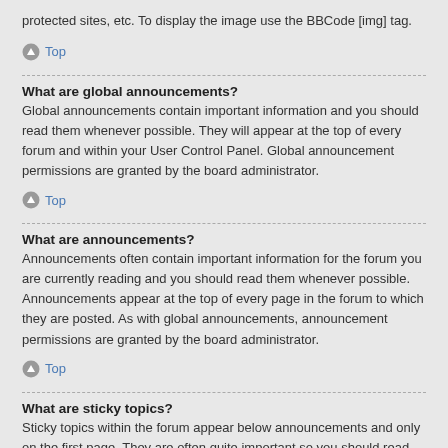protected sites, etc. To display the image use the BBCode [img] tag.
Top
What are global announcements?
Global announcements contain important information and you should read them whenever possible. They will appear at the top of every forum and within your User Control Panel. Global announcement permissions are granted by the board administrator.
Top
What are announcements?
Announcements often contain important information for the forum you are currently reading and you should read them whenever possible. Announcements appear at the top of every page in the forum to which they are posted. As with global announcements, announcement permissions are granted by the board administrator.
Top
What are sticky topics?
Sticky topics within the forum appear below announcements and only on the first page. They are often quite important so you should read them whenever possible. As with announcements and global announcements, sticky topic permissions are granted by the board administrator.